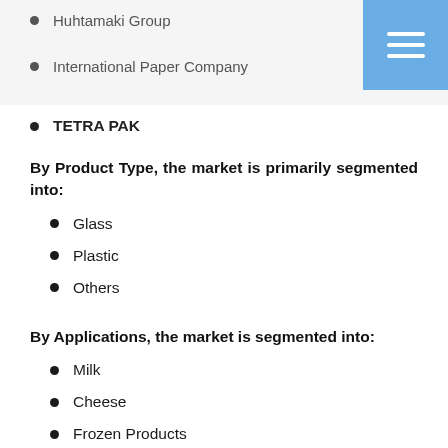Huhtamaki Group
International Paper Company
TETRA PAK
By Product Type, the market is primarily segmented into:
Glass
Plastic
Others
By Applications, the market is segmented into:
Milk
Cheese
Frozen Products